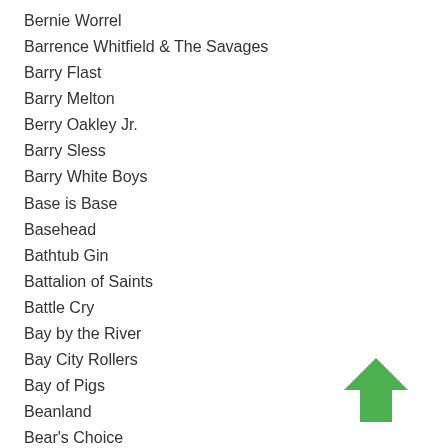Bernie Worrel
Barrence Whitfield & The Savages
Barry Flast
Barry Melton
Berry Oakley Jr.
Barry Sless
Barry White Boys
Base is Base
Basehead
Bathtub Gin
Battalion of Saints
Battle Cry
Bay by the River
Bay City Rollers
Bay of Pigs
Beanland
Bear's Choice
Beat Brigade
Beat Happening
[Figure (illustration): Green upward-pointing arrow icon]